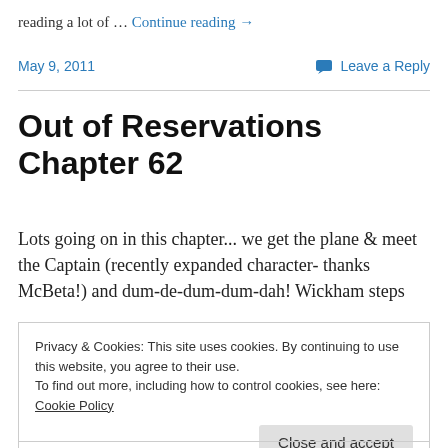reading a lot of … Continue reading →
May 9, 2011   Leave a Reply
Out of Reservations Chapter 62
Lots going on in this chapter... we get the plane & meet the Captain (recently expanded character- thanks McBeta!) and dum-de-dum-dum-dah! Wickham steps
Privacy & Cookies: This site uses cookies. By continuing to use this website, you agree to their use.
To find out more, including how to control cookies, see here: Cookie Policy
Close and accept